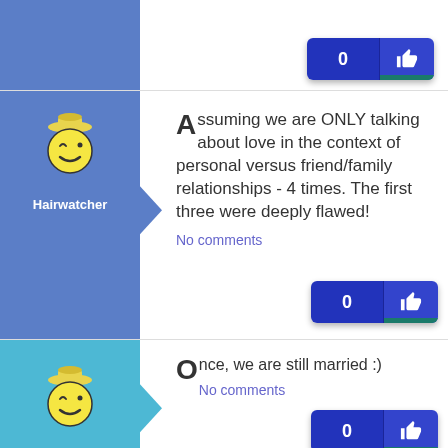[Figure (screenshot): Top partial post row with blue avatar column, partially visible]
[Figure (screenshot): Post by Hairwatcher: 'Assuming we are ONLY talking about love in the context of personal versus friend/family relationships - 4 times. The first three were deeply flawed!' with No comments and 0 likes button]
Assuming we are ONLY talking about love in the context of personal versus friend/family relationships - 4 times. The first three were deeply flawed!
No comments
[Figure (screenshot): Post by Morg the Army wife: 'Once, we are still married :)' with No comments and 0 likes button]